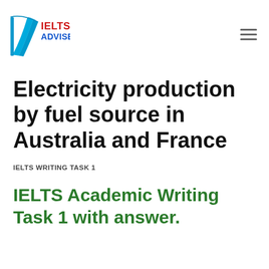IELTS ADVISER
Electricity production by fuel source in Australia and France
IELTS WRITING TASK 1
IELTS Academic Writing Task 1 with answer.